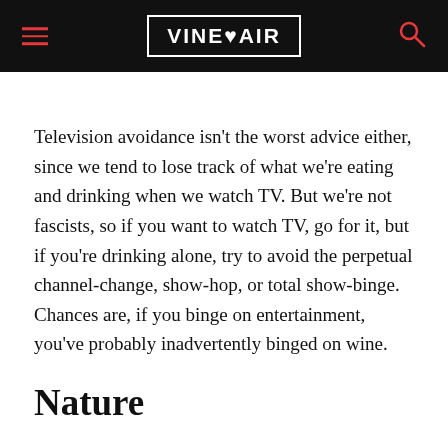VinePair
Television avoidance isn't the worst advice either, since we tend to lose track of what we're eating and drinking when we watch TV. But we're not fascists, so if you want to watch TV, go for it, but if you're drinking alone, try to avoid the perpetual channel-change, show-hop, or total show-binge. Chances are, if you binge on entertainment, you've probably inadvertently binged on wine.
Nature